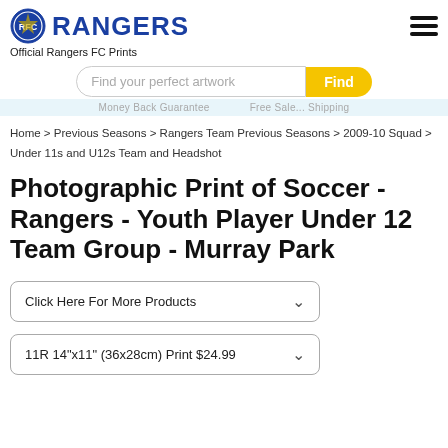RANGERS — Official Rangers FC Prints
Find your perfect artwork | Find
Money Back Guarantee ... Free Sale... Shipping
Home > Previous Seasons > Rangers Team Previous Seasons > 2009-10 Squad > Under 11s and U12s Team and Headshot
Photographic Print of Soccer - Rangers - Youth Player Under 12 Team Group - Murray Park
Click Here For More Products
11R 14"x11" (36x28cm) Print $24.99